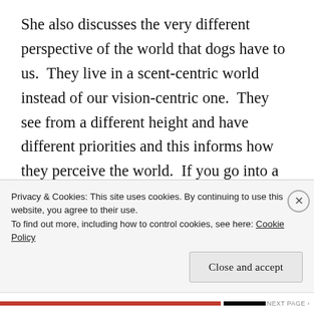She also discusses the very different perspective of the world that dogs have to us.  They live in a scent-centric world instead of our vision-centric one.  They see from a different height and have different priorities and this informs how they perceive the world.  If you go into a room, you might be more attuned to finding a chair, whereas a dog might be more attuned to the crumbs of food under the table.  We have different lives and different things are important
Privacy & Cookies: This site uses cookies. By continuing to use this website, you agree to their use.
To find out more, including how to control cookies, see here: Cookie Policy
Close and accept